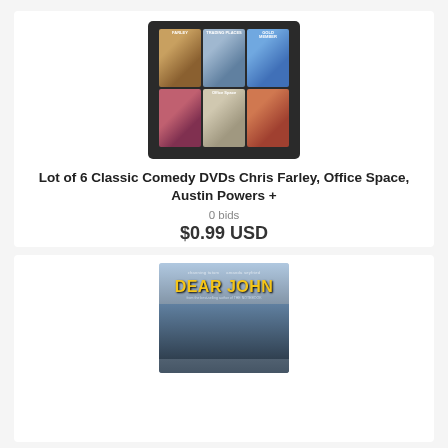[Figure (photo): Photo of a lot of 6 classic comedy DVDs including Chris Farley, Trading Places, Goldmember, a wedding movie, Office Space, and Austin Powers arranged in a 3x2 grid on a dark background]
Lot of 6 Classic Comedy DVDs Chris Farley, Office Space, Austin Powers +
0 bids
$0.99 USD
[Figure (photo): Photo of Dear John DVD cover showing Channing Tatum and Amanda Seyfried]